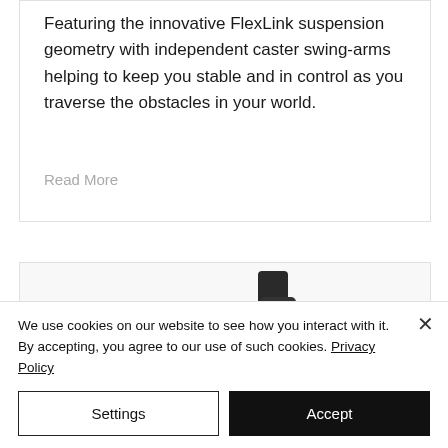Featuring the innovative FlexLink suspension geometry with independent caster swing-arms helping to keep you stable and in control as you traverse the obstacles in your world.
Read More
[Figure (photo): Partial view of a black power wheelchair, showing the seat and armrest area]
We use cookies on our website to see how you interact with it. By accepting, you agree to our use of such cookies. Privacy Policy
Settings
Accept